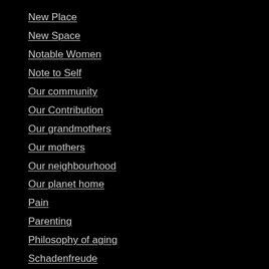New Place
New Space
Notable Women
Note to Self
Our community
Our Contribution
Our grandmothers
Our mothers
Our neighbourhood
Our planet home
Pain
Parenting
Philosophy of aging
Schadenfreude